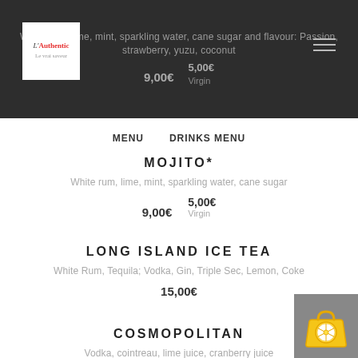White rum, lime, mint, sparkling water, cane sugar and flavour: Passion, strawberry, yuzu, coconut
9,00€    5,00€
Virgin
MENU    DRINKS MENU
MOJITO*
White rum, lime, mint, sparkling water, cane sugar
9,00€    5,00€
Virgin
LONG ISLAND ICE TEA
White Rum, Tequila; Vodka, Gin, Triple Sec, Lemon, Coke
15,00€
COSMOPOLITAN
Vodka, cointreau, lime juice, cranberry juice